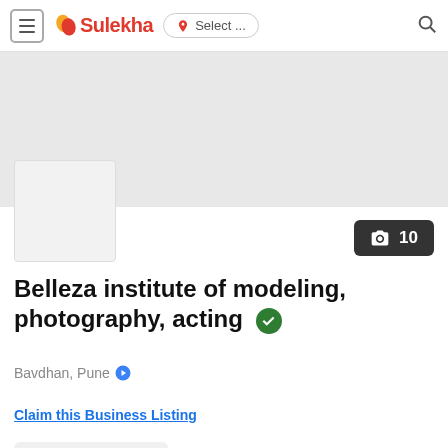Sulekha | Select ... [search]
[Figure (screenshot): Business photo placeholder thumbnail, light gray square]
[Figure (infographic): Camera icon badge showing count: 10 photos]
Belleza institute of modeling, photography, acting
Bavdhan, Pune
Claim this Business Listing
Write Review